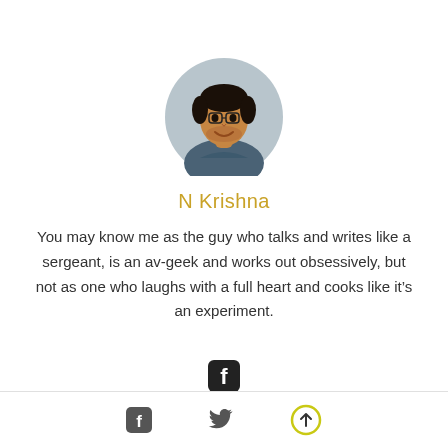[Figure (photo): Circular cropped profile photo of a young man with short dark hair and beard, wearing a dark blue shirt, smiling, against a light gray background.]
N Krishna
You may know me as the guy who talks and writes like a sergeant, is an av-geek and works out obsessively, but not as one who laughs with a full heart and cooks like it’s an experiment.
[Figure (logo): Facebook icon (rounded square with 'f' letterform) in dark/black color]
Footer with Facebook icon, Twitter bird icon, and circular up-arrow button with yellow-green border